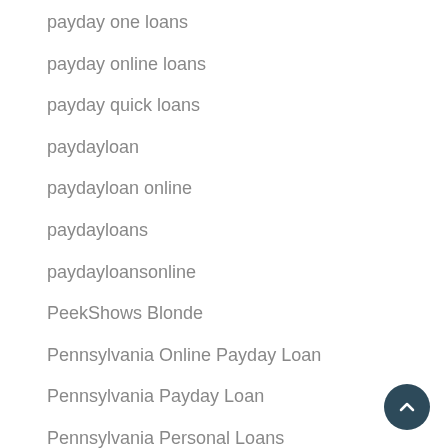payday one loans
payday online loans
payday quick loans
paydayloan
paydayloan online
paydayloans
paydayloansonline
PeekShows Blonde
Pennsylvania Online Payday Loan
Pennsylvania Payday Loan
Pennsylvania Personal Loans
Personal Loans Alaska Online